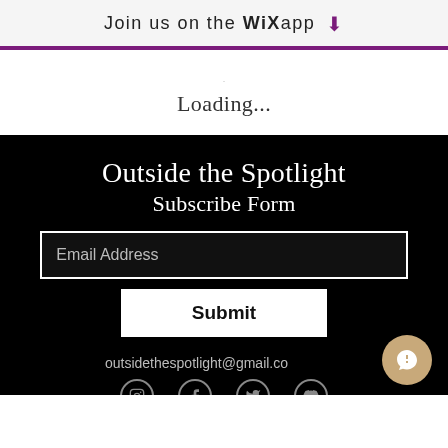Join us on the WiX app ↓
Loading...
Outside the Spotlight
Subscribe Form
Email Address
Submit
outsidethespotlight@gmail.co